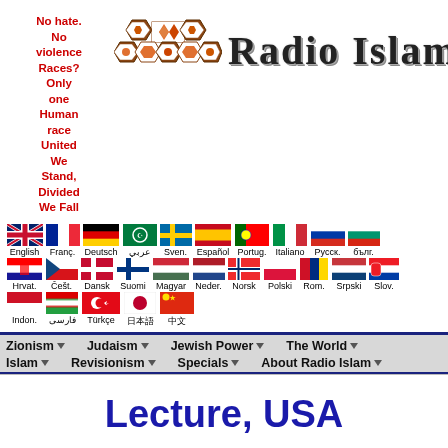No hate. No violence Races? Only one Human race United We Stand, Divided We Fall
[Figure (logo): Radio Islam logo with geometric Islamic pattern and stylized text 'Radio Islam']
[Figure (infographic): Language navigation flags: English, Français, Deutsch, عربي, Sven., Español, Portug., Italiano, Русск., бълг., Hrvat., Češt., Dansk, Suomi, Magyar, Neder., Norsk, Polski, Rom., Srpski, Slov., Indon., فارسی, Türkçe, 日本語, 中文]
Zionism | Judaism | Jewish Power | The World | Islam | Revisionism | Specials | About Radio Islam
Lecture, USA